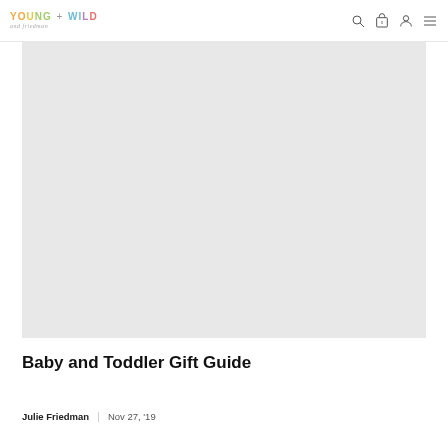YOUNG + WILD and friedman — navigation bar with search, cart, account, and menu icons
[Figure (photo): Large light gray placeholder hero image area for blog post]
Baby and Toddler Gift Guide
Julie Friedman | Nov 27, '19